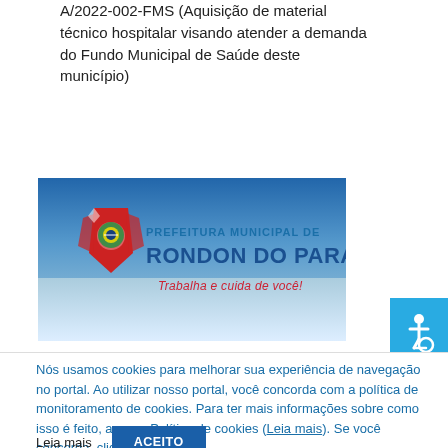A/2022-002-FMS (Aquisição de material técnico hospitalar visando atender a demanda do Fundo Municipal de Saúde deste município)
[Figure (logo): Prefeitura Municipal de Rondon do Pará logo — blue gradient background with municipal coat of arms, text 'PREFEITURA MUNICIPAL DE RONDON DO PARÁ' and tagline 'Trabalha e cuida de você!']
Nós usamos cookies para melhorar sua experiência de navegação no portal. Ao utilizar nosso portal, você concorda com a política de monitoramento de cookies. Para ter mais informações sobre como isso é feito, acesse Política de cookies (Leia mais). Se você concorda, clique em ACEITO.
Leia mais   ACEITO